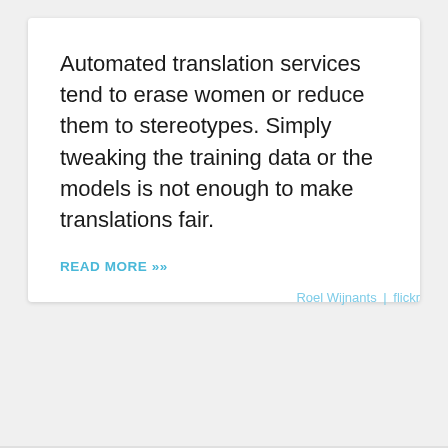Automated translation services tend to erase women or reduce them to stereotypes. Simply tweaking the training data or the models is not enough to make translations fair.
READ MORE »»
Roel Wijnants | flickr